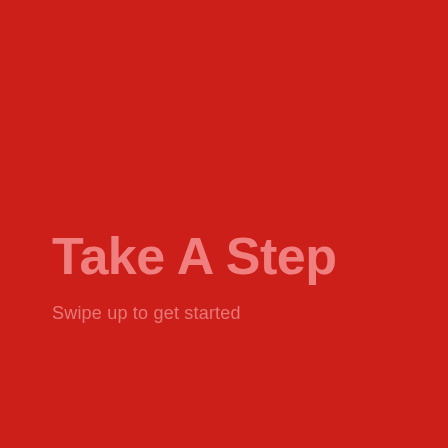Take A Step
Swipe up to get started